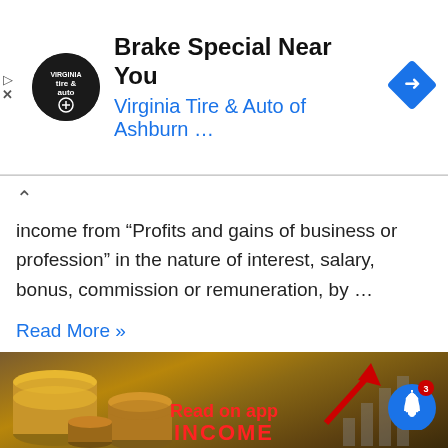[Figure (screenshot): Ad banner for Virginia Tire & Auto of Ashburn with logo, title 'Brake Special Near You', subtitle 'Virginia Tire & Auto of Ashburn ...', navigation icon, and ad controls]
income from “Profits and gains of business or profession” in the nature of interest, salary, bonus, commission or remuneration, by …
Read More »
[Figure (photo): Photo of stacked gold coins on a dark background with 'Read on app' text in red and partial 'INCOME' text at bottom, with a notification bell icon showing 3 notifications and a red arrow overlay with bar chart]